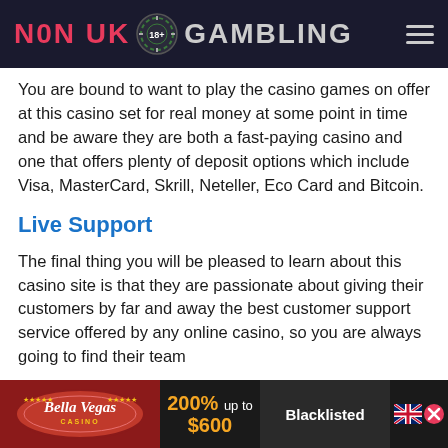N0N UK GAMBLING
You are bound to want to play the casino games on offer at this casino set for real money at some point in time and be aware they are both a fast-paying casino and one that offers plenty of deposit options which include Visa, MasterCard, Skrill, Neteller, Eco Card and Bitcoin.
Live Support
The final thing you will be pleased to learn about this casino site is that they are passionate about giving their customers by far and away the best customer support service offered by any online casino, so you are always going to find their team
[Figure (infographic): Bella Vegas Casino advertisement banner showing logo, 200% up to $600 bonus offer, and Blacklisted badge with UK flag and close button]